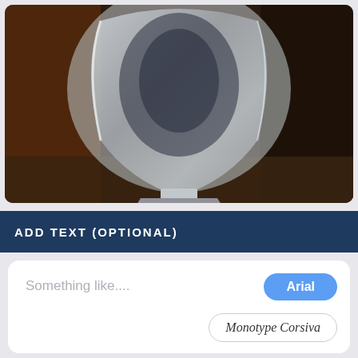[Figure (photo): A glass/crystal heart-shaped or shield-shaped trophy award on a black rectangular base, photographed against a dark brown background. The crystal plaque is clear/frosted with a dark center shadow, resting on a polished black pedestal base.]
ADD TEXT (OPTIONAL)
Something like....
Arial
Monotype Corsiva